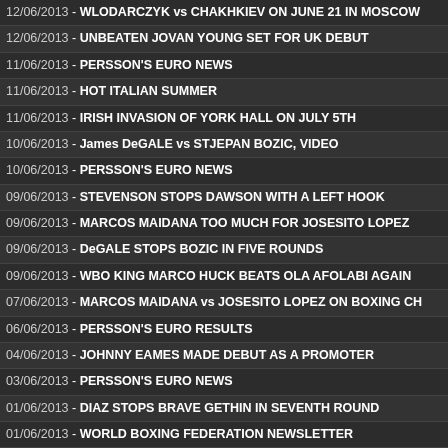12/06/2013 - WLODARCZYK vs CHAKHKIEV ON JUNE 21 IN MOSCOW
12/06/2013 - UNBEATEN JOVAN YOUNG SET FOR UK DEBUT
11/06/2013 - PERSSON'S EURO NEWS
11/06/2013 - HOT ITALIAN SUMMER
11/06/2013 - IRISH INVASION OF YORK HALL ON JULY 5TH
10/06/2013 - James DeGALE vs STJEPAN BOZIC, VIDEO
10/06/2013 - PERSSON'S EURO NEWS
09/06/2013 - STEVENSON STOPS DAWSON WITH A LEFT HOOK
09/06/2013 - MARCOS MAIDANA TOO MUCH FOR JOSESITO LOPEZ
09/06/2013 - DeGALE STOPS BOZIC IN FIVE ROUNDS
09/06/2013 - WBO KING MARCO HUCK BEATS OLA AFOLABI AGAIN
07/06/2013 - MARCOS MAIDANA vs JOSESITO LOPEZ ON BOXING CH
06/06/2013 - PERSSON'S EURO RESULTS
04/06/2013 - JOHNNY EAMES MADE DEBUT AS A PROMOTER
03/06/2013 - PERSSON'S EURO NEWS
01/06/2013 - DIAZ STOPS BRAVE GETHIN IN SEVENTH ROUND
01/06/2013 - WORLD BOXING FEDERATION NEWSLETTER
31/05/2013 - LYNES AND SUTIDZE WEIGHTS AND QUOTES
30/05/2013 - PERSSON'S EURO NEWS AND RESULTS
29/05/2013 - KID LAMA READY FOR HIS SECOND PRO OUTING
29/05/2013 - GOLDEN GIRL RETURNS TO YORK HALL JULY 5TH
28/05/2013 - BOXERS UNITE FOR TROOPS IN AFTERMATCH OF WOO
26/05/2013 - FROCH vs KELLSER, ROUND-BY-ROUND COVERAGE
26/05/2013 - FROCH BEATS KESSLER IN UNIFICATION BATTLE
24/05/2013 - PERSSON'S EURO NEWS AND RESULTS
24/05/2013 - ABOUT CARL FROCH vs MIKKEL KESSLER